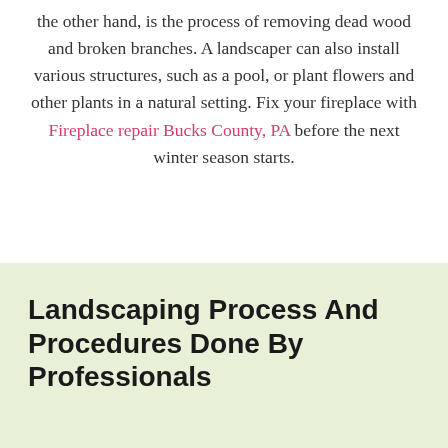the other hand, is the process of removing dead wood and broken branches. A landscaper can also install various structures, such as a pool, or plant flowers and other plants in a natural setting. Fix your fireplace with Fireplace repair Bucks County, PA before the next winter season starts.
Landscaping Process And Procedures Done By Professionals